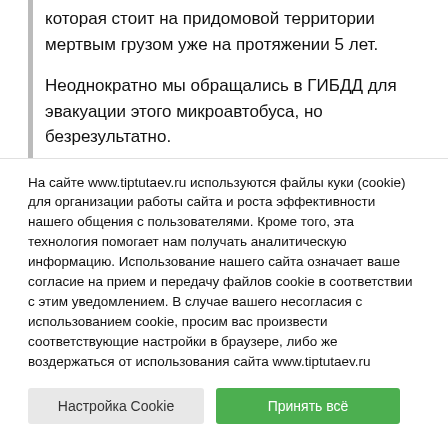которая стоит на придомовой территории мертвым грузом уже на протяжении 5 лет.
Неоднократно мы обращались в ГИБДД для эвакуации этого микроавтобуса, но безрезультатно.
На сайте www.tiptutaev.ru используются файлы куки (cookie) для организации работы сайта и роста эффективности нашего общения с пользователями. Кроме того, эта технология помогает нам получать аналитическую информацию. Использование нашего сайта означает ваше согласие на прием и передачу файлов cookie в соответствии с этим уведомлением. В случае вашего несогласия с использованием cookie, просим вас произвести соответствующие настройки в браузере, либо же воздержаться от использования сайта www.tiptutaev.ru
Настройка Cookie | Принять всё